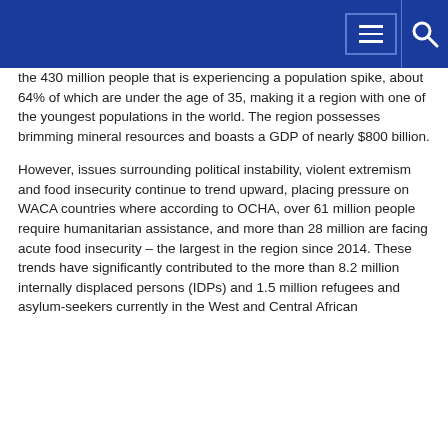[Navigation header with menu and search icons]
the 430 million people that is experiencing a population spike, about 64% of which are under the age of 35, making it a region with one of the youngest populations in the world. The region possesses brimming mineral resources and boasts a GDP of nearly $800 billion.
However, issues surrounding political instability, violent extremism and food insecurity continue to trend upward, placing pressure on WACA countries where according to OCHA, over 61 million people require humanitarian assistance, and more than 28 million are facing acute food insecurity – the largest in the region since 2014. These trends have significantly contributed to the more than 8.2 million internally displaced persons (IDPs) and 1.5 million refugees and asylum-seekers currently in the West and Central African